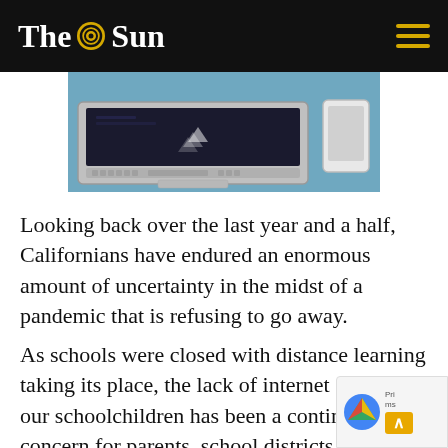The Sun
[Figure (photo): Partial view of a laptop computer and smartphone on a desk with a blue surface, photographed from above at an angle]
Looking back over the last year and a half, Californians have endured an enormous amount of uncertainty in the midst of a pandemic that is refusing to go away.
As schools were closed with distance learning taking its place, the lack of internet access by our schoolchildren has been a continual concern for parents, school districts, and